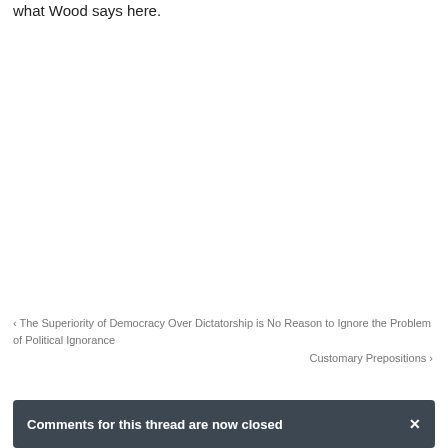what Wood says here.
‹ The Superiority of Democracy Over Dictatorship is No Reason to Ignore the Problem of Political Ignorance
Customary Prepositions ›
Comments for this thread are now closed ×